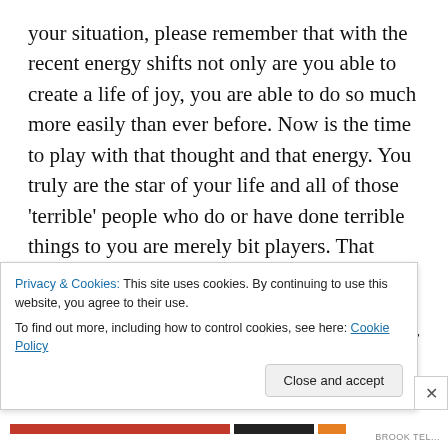your situation, please remember that with the recent energy shifts not only are you able to create a life of joy, you are able to do so much more easily than ever before. Now is the time to play with that thought and that energy. You truly are the star of your life and all of those ‘terrible’ people who do or have done terrible things to you are merely bit players. That woman who is mean to you – shift her role or eradicate her from you life –  not in terms of physical harm – but in a fashion that no longer impacts you – maybe she will decide to move or to play the mean being in someone’s life who wishes to continue with their
Privacy & Cookies: This site uses cookies. By continuing to use this website, you agree to their use.
To find out more, including how to control cookies, see here: Cookie Policy
Close and accept